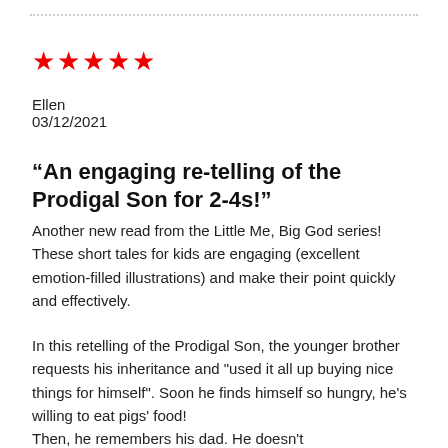★★★★★
Ellen
03/12/2021
“An engaging re-telling of the Prodigal Son for 2-4s!”
Another new read from the Little Me, Big God series! These short tales for kids are engaging (excellent emotion-filled illustrations) and make their point quickly and effectively.
In this retelling of the Prodigal Son, the younger brother requests his inheritance and "used it all up buying nice things for himself". Soon he finds himself so hungry, he's willing to eat pigs' food!
Then, he remembers his dad. He doesn't